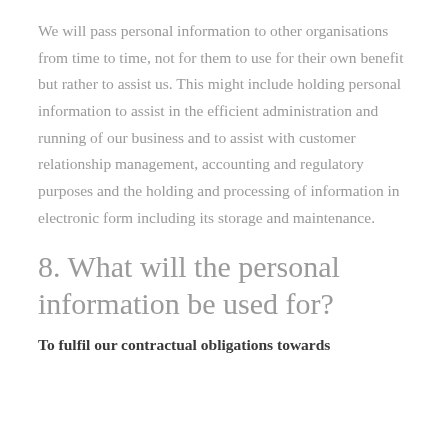We will pass personal information to other organisations from time to time, not for them to use for their own benefit but rather to assist us. This might include holding personal information to assist in the efficient administration and running of our business and to assist with customer relationship management, accounting and regulatory purposes and the holding and processing of information in electronic form including its storage and maintenance.
8. What will the personal information be used for?
To fulfil our contractual obligations towards